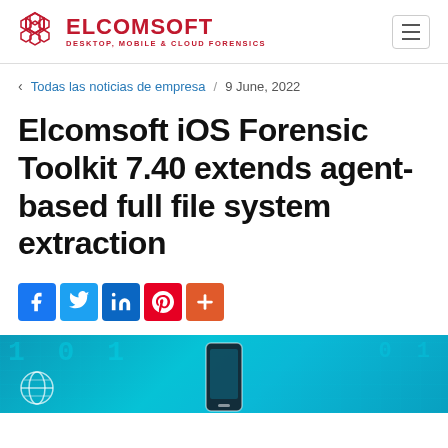[Figure (logo): Elcomsoft logo with honeycomb icon and text 'ELCOMSOFT DESKTOP, MOBILE & CLOUD FORENSICS']
< Todas las noticias de empresa / 9 June, 2022
Elcomsoft iOS Forensic Toolkit 7.40 extends agent-based full file system extraction
[Figure (infographic): Social sharing buttons: Facebook, Twitter, LinkedIn, Pinterest, Plus]
[Figure (photo): Teal/cyan digital background with binary digits and a smartphone in the center, globe icon at bottom left]